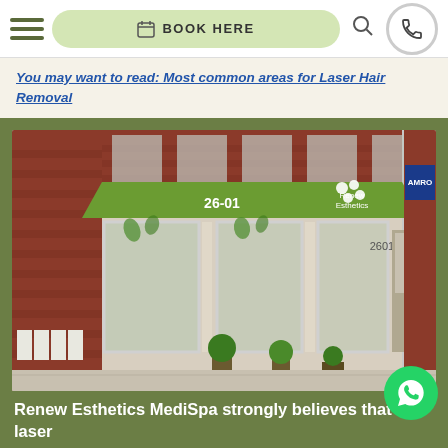BOOK HERE
You may want to read: Most common areas for Laser Hair Removal
[Figure (photo): Exterior storefront of Renew Esthetics MediSpa at 26-01, with a green awning bearing the business logo, large display windows with leaf decorations, brick building facade, and potted plants on the sidewalk.]
Laser Hair Removal in Astoria NY
Renew Esthetics MediSpa strongly believes that laser